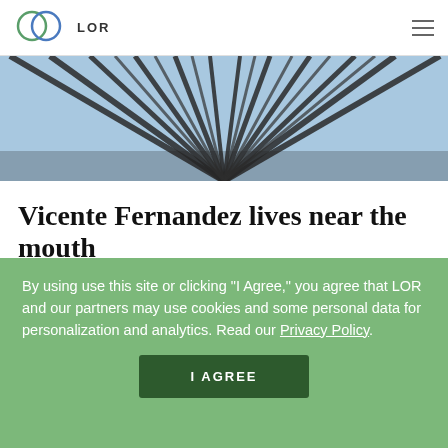LOR
[Figure (photo): Looking up at tall bare-branched trees against a blue sky, wide-angle shot from below]
Vicente Fernandez lives near the mouth
By using use this site or clicking "I Agree," you agree that LOR and our partners may use cookies and some personal data for personalization and analytics. Read our Privacy Policy.
I AGREE